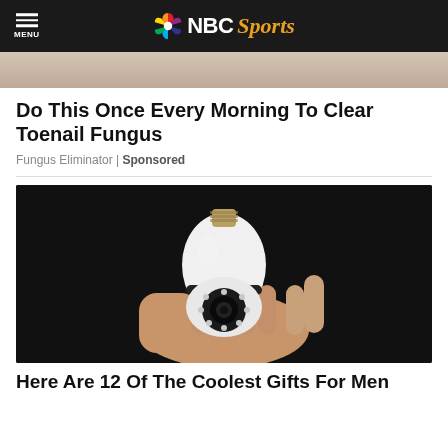MENU | NBC Sports
[Figure (photo): Partial image cropped at top, showing skin/body background in warm tones]
Do This Once Every Morning To Clear Toenail Fungus
Fungus Eliminator | Sponsored
[Figure (photo): A hand holding a white security camera shaped like a light bulb, with a visible camera lens and LED lights, against a dark background]
Here Are 12 Of The Coolest Gifts For Men